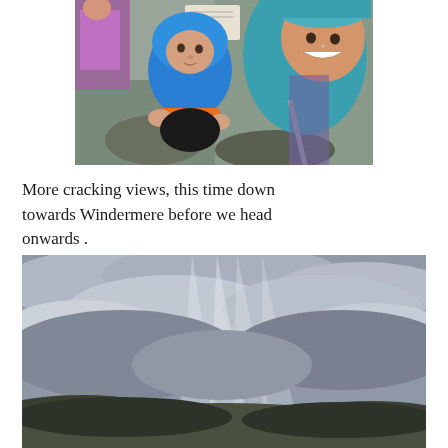[Figure (photo): A selfie showing a smiling woman wearing a teal/blue jacket and hat, and a young toddler in a bright blue puffy jacket with hood up, sitting on rocky terrain outdoors. Another child in pink/purple is visible in the background.]
More cracking views, this time down towards Windermere before we head onwards .
[Figure (photo): A landscape photo showing a dramatic cloudy sky with rays of light breaking through grey clouds, with hills or moorland visible in the lower portion of the image.]